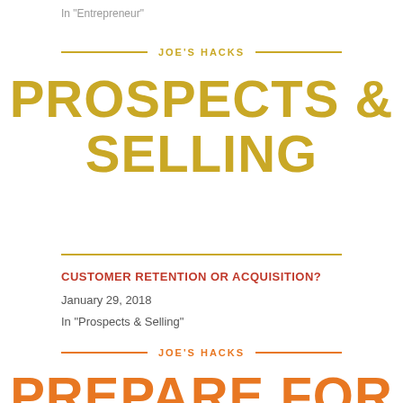In "Entrepreneur"
JOE'S HACKS
PROSPECTS & SELLING
CUSTOMER RETENTION OR ACQUISITION?
January 29, 2018
In "Prospects & Selling"
JOE'S HACKS
PREPARE FOR THE SALE